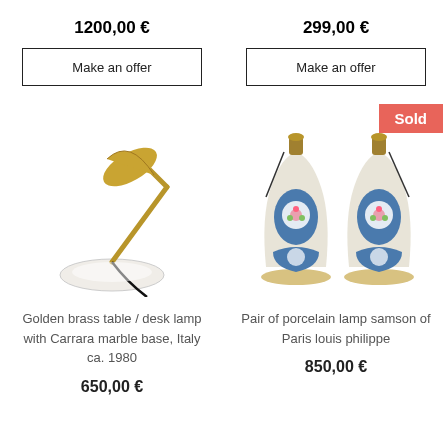1200,00 €
299,00 €
Make an offer
Make an offer
[Figure (photo): Golden brass table/desk lamp with Carrara marble base, Italy ca. 1980]
[Figure (photo): Pair of porcelain lamp samson of Paris louis philippe, with 'Sold' badge in top right corner]
Golden brass table / desk lamp with Carrara marble base, Italy ca. 1980
Pair of porcelain lamp samson of Paris louis philippe
650,00 €
850,00 €